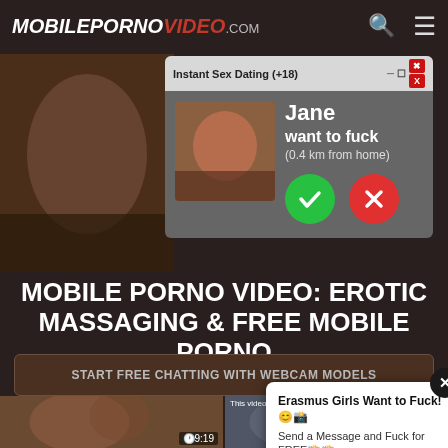MOBILEPORNOVIDEO.com
[Figure (screenshot): Dating ad popup: 'Instant Sex Dating (+18)' with profile image, name Jane, 'want to fuck (0.4 km from home)', check and X buttons]
MOBILE PORNO VIDEO: EROTIC MASSAGING & FREE MOBILE PORNO
START FREE CHATTING WITH WEBCAM MODELS
[Figure (screenshot): Two video thumbnails with durations 9:19 and 50:32]
[Figure (screenshot): Notification popup: 'Erasmus Girls Want to Fuck! Send a Message and Fuck for FREE']